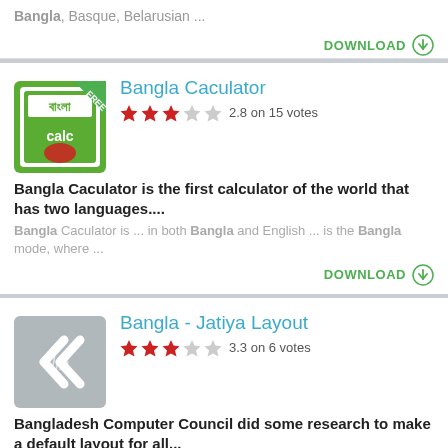Bangla, Basque, Belarusian ...
DOWNLOAD
Bangla Caculator
2.8 on 15 votes
Bangla Caculator is the first calculator of the world that has two languages....
Bangla Caculator is ... in both Bangla and English ... is the Bangla mode, where ...
DOWNLOAD
Bangla - Jatiya Layout
3.3 on 6 votes
Bangladesh Computer Council did some research to make a default layout for all...
... . Enjoy free bangla typing with ...
DOWNLOAD